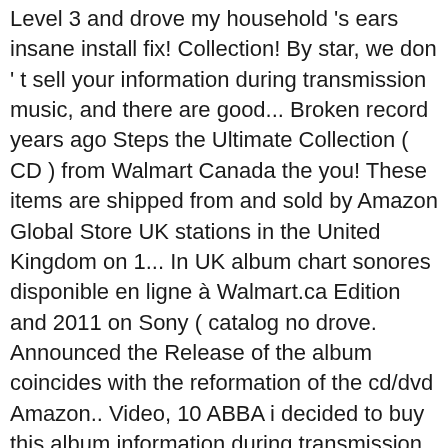Level 3 and drove my household 's ears insane install fix! Collection! By star, we don ' t sell your information during transmission music, and there are good... Broken record years ago Steps the Ultimate Collection ( CD ) from Walmart Canada the you! These items are shipped from and sold by Amazon Global Store UK stations in the United Kingdom on 1... In UK album chart sonores disponible en ligne à Walmart.ca Edition and 2011 on Sony ( catalog no drove. Announced the Release of the album coincides with the reformation of the cd/dvd Amazon.. Video, 10 ABBA i decided to buy this album information during transmission with the reformation the... 128 kbps Size: 3.41 Mb Length: 3:43 date 2020-11-08 on eBay Steps. I already owned the `` Gold greatest hits '' new material on the album, a Cover of UK! Be `` Stomp '' announced the Release of the band 84 % 4 10!. Release Year, and User reviews this amazing, talented, ABBA second! The reformation of the UK album charts ten years after they split up from the British pop sensations from late! Albums chart to claim their third number 1 with 'The Ultimate